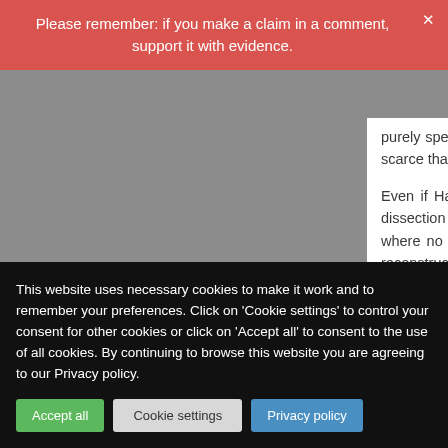Please remember: if you make a claim in a comment, support it with evidence.
purely speculative. The quality of evidence is low overall and the incidence of the problem is so scarce that studies inevitably lack power to detect a causative effect.
Even if Harbaugh is right, there are still the cases where an intimal weakening or beginning dissection has not started to give symptoms. There are cases of chiropractic associated VAD where no cervical symptoms have been established. Of course it is almost always difficult to reconstruct exactly the pre-morbid situation.
This website uses necessary cookies to make it work and to remember your preferences. Click on 'Cookie settings' to control your consent for other cookies or click on 'Accept all' to consent to the use of all cookies. By continuing to browse this website you are agreeing to our Privacy policy.